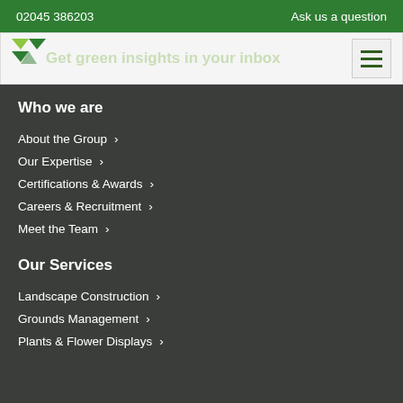02045 386203
Ask us a question
[Figure (logo): Green triangular logo mark]
Get green insights in your inbox
Who we are
About the Group
Our Expertise
Certifications & Awards
Careers & Recruitment
Meet the Team
Our Services
Landscape Construction
Grounds Management
Plants & Flower Displays